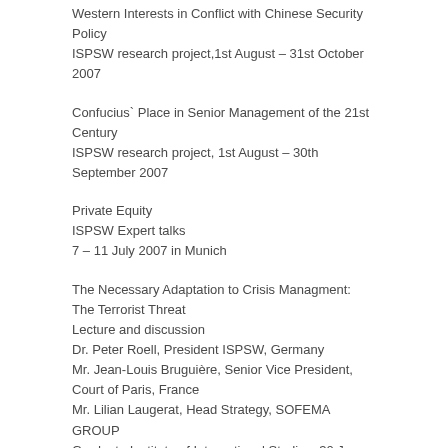Western Interests in Conflict with Chinese Security Policy
ISPSW research project,1st August – 31st October 2007
Confucius` Place in Senior Management of the 21st Century
ISPSW research project, 1st August – 30th September 2007
Private Equity
ISPSW Expert talks
7 – 11 July 2007 in Munich
The Necessary Adaptation to Crisis Managment: The Terrorist Threat
Lecture and discussion
Dr. Peter Roell, President ISPSW, Germany
Mr. Jean-Louis Bruguière, Senior Vice President, Court of Paris, France
Mr. Lilian Laugerat, Head Strategy, SOFEMA GROUP
Graduate Institute of International Studies, 30 June 2007 in Monte Carlo
www.cmf.ch
Crans Montana Forum 18th Annual Session
Participation ISPSW President
28 June – 1 July 2007 in Monaco
www.cmf.ch